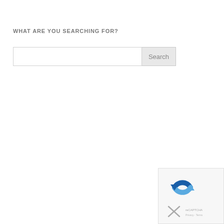WHAT ARE YOU SEARCHING FOR?
[Figure (screenshot): Search input box with a Search button to the right]
[Figure (screenshot): reCAPTCHA widget in bottom-right corner showing reCAPTCHA logo and an X close button]